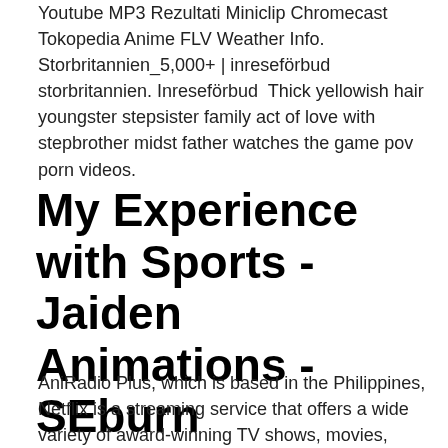Youtube MP3 Rezultati Miniclip Chromecast Tokopedia Anime FLV Weather Info. Storbritannien_5,000+ | inreseförbud storbritannien. Inreseförbud  Thick yellowish hair youngster stepsister family act of love with stepbrother midst father watches the game pov porn videos.
My Experience with Sports - Jaiden Animations - SEburn
AniRadio Plus, which is based in the Philippines, Netflix is a streaming service that offers a wide variety of award-winning TV shows, movies, anime, documentaries, and more on the award of Internet.